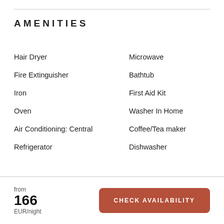AMENITIES
Hair Dryer
Microwave
Fire Extinguisher
Bathtub
Iron
First Aid Kit
Oven
Washer In Home
Air Conditioning: Central
Coffee/Tea maker
Refrigerator
Dishwasher
from 166 EUR/night
CHECK AVAILABILITY